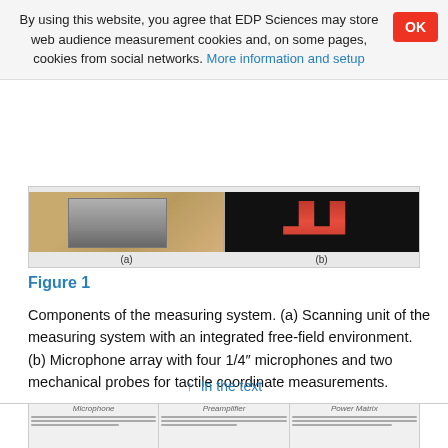By using this website, you agree that EDP Sciences may store web audience measurement cookies and, on some pages, cookies from social networks. More information and setup
[Figure (photo): Two side-by-side photos: (a) scanning unit of measuring system with integrated free-field environment, (b) microphone array with red prongs on dark background. Labels (a) and (b) below each photo.]
Figure 1
Components of the measuring system. (a) Scanning unit of the measuring system with an integrated free-field environment. (b) Microphone array with four 1/4″ microphones and two mechanical probes for tactile coordinate measurements.
↑ In the text
[Figure (table-as-image): Partial bottom strip of a figure showing columns labeled Microphone, Preamplifier, Power Matrix with horizontal lines below (beginning of next figure).]